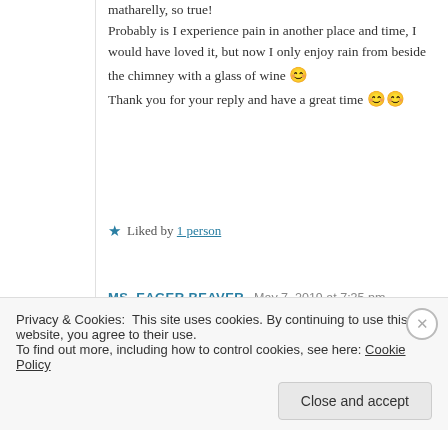matharelly, so true! Probably is I experience pain in another place and time, I would have loved it, but now I only enjoy rain from beside the chimney with a glass of wine 😊 Thank you for your reply and have a great time 😊😊
★ Liked by 1 person
MS. EAGER BEAVER  May 7, 2019 at 7:35 pm
Privacy & Cookies: This site uses cookies. By continuing to use this website, you agree to their use. To find out more, including how to control cookies, see here: Cookie Policy
Close and accept